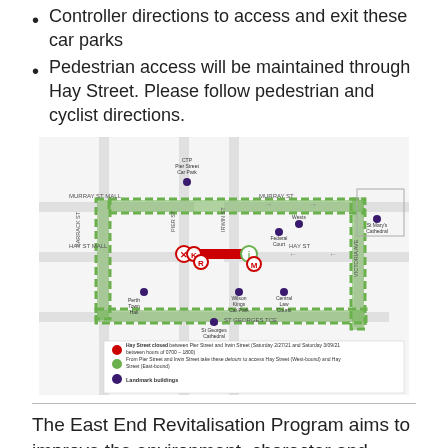Controller directions to access and exit these car parks
Pedestrian access will be maintained through Hay Street. Please follow pedestrian and cyclist directions.
[Figure (map): Street map showing Hay Street closure between Pier Street and Irwin Street, with detour routes marked in green dashed lines, a red closed segment on Hay Street, and landmark buildings marked. Legend shows: Hay Street closed between Pier Street and Irwin Street (Saturday 2/27/21 and Saturday 3/09/21 between hours of 0700-1800); From Pier Street and Irwin Street take these detours to access Hay Street (West-bound) and Hay Street (East-bound); Landmark buildings.]
The East End Revitalisation Program aims to improve the environment, character and quality of